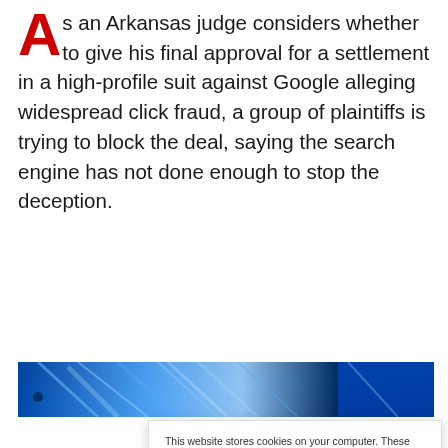As an Arkansas judge considers whether to give his final approval for a settlement in a high-profile suit against Google alleging widespread click fraud, a group of plaintiffs is trying to block the deal, saying the search engine has not done enough to stop the deception.
[Figure (photo): Blue-toned abstract/technological image, partially visible at the bottom of the article content area]
This website stores cookies on your computer. These cookies are used to collect information about how you interact with our website and allow us to remember you. We use this information in order to improve and customize your browsing experience and for analytics and metrics about our visitors both on this website and other media. To find out more about the cookies we use, see our Privacy Policy. California residents have the right to direct us not to sell their personal information to third parties by filing an Opt-Out Request: Do Not Sell My Personal Info.